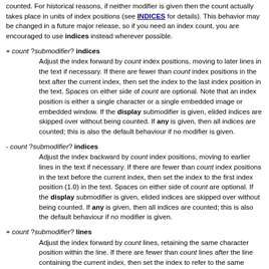counted. For historical reasons, if neither modifier is given then the count actually takes place in units of index positions (see INDICES for details). This behavior may be changed in a future major release, so if you need an index count, you are encouraged to use indices instead wherever possible.
+ count ?submodifier? indices
Adjust the index forward by count index positions, moving to later lines in the text if necessary. If there are fewer than count index positions in the text after the current index, then set the index to the last index position in the text. Spaces on either side of count are optional. Note that an index position is either a single character or a single embedded image or embedded window. If the display submodifier is given, elided indices are skipped over without being counted. If any is given, then all indices are counted; this is also the default behaviour if no modifier is given.
- count ?submodifier? indices
Adjust the index backward by count index positions, moving to earlier lines in the text if necessary. If there are fewer than count index positions in the text before the current index, then set the index to the first index position (1.0) in the text. Spaces on either side of count are optional. If the display submodifier is given, elided indices are skipped over without being counted. If any is given, then all indices are counted; this is also the default behaviour if no modifier is given.
+ count ?submodifier? lines
Adjust the index forward by count lines, retaining the same character position within the line. If there are fewer than count lines after the line containing the current index, then set the index to refer to the same character position on the last line of the text. Then, if the line is...